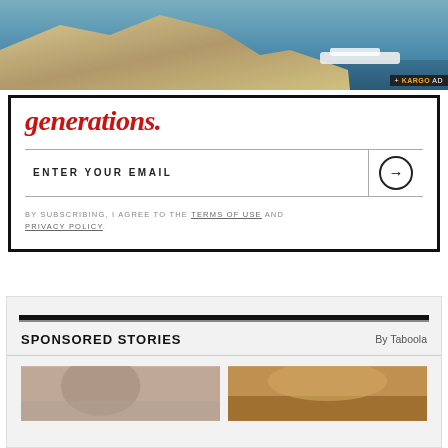[Figure (photo): Aerial or landscape photo of coastal cliffs, sea, and a cruise ship in the distance]
generations.
ENTER YOUR EMAIL
BY SUBSCRIBING, I AGREE TO THE TERMS OF USE AND PRIVACY POLICY.
SPONSORED STORIES
By Taboola
[Figure (photo): Thumbnail image - person (left)]
[Figure (photo): Thumbnail image - outdoor/landscape (right)]